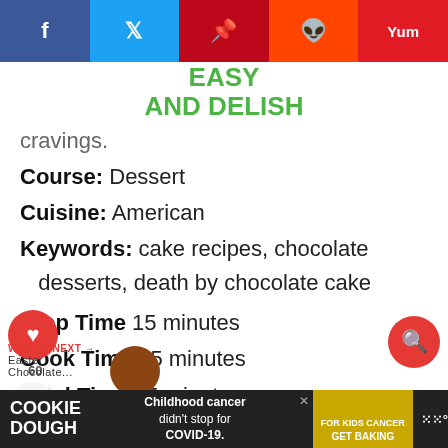Easy and Delish - social share bar with Facebook, Twitter, Pinterest, Reddit, Yummly buttons
[Figure (logo): Easy and Delish logo in green text]
cravings.
Course: Dessert
Cuisine: American
Keywords: cake recipes, chocolate desserts, death by chocolate cake
Prep Time 15 minutes
Cook Time 45 minutes
Total Time 55 minutes
Servings 30
Calories 274 kcal
COOKIE DOUGH - Childhood cancer didn't stop for COVID-19. cookies for kids cancer GET BAKING